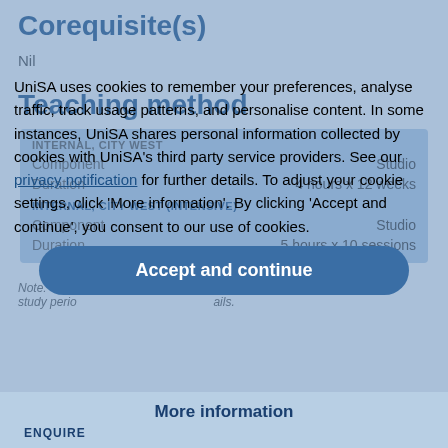Corequisite(s)
Nil
Teaching method
| Component | Studio |
| --- | --- |
| Duration | 4 hours x 12 weeks |
| Component | Studio |
| --- | --- |
| Duration | 5 hours x 10 sessions |
Note: These ... on every study period ... ails.
UniSA uses cookies to remember your preferences, analyse traffic, track usage patterns, and personalise content. In some instances, UniSA shares personal information collected by cookies with UniSA's third party service providers. See our privacy notification for further details. To adjust your cookie settings, click 'More information'. By clicking 'Accept and continue', you consent to our use of cookies.
Accept and continue
More information
ENQUIRE